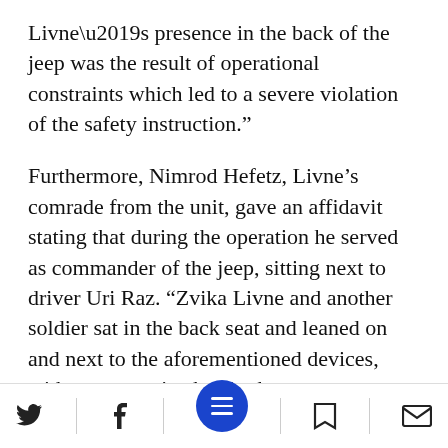Livne’s presence in the back of the jeep was the result of operational constraints which led to a severe violation of the safety instruction.”
Furthermore, Nimrod Hefetz, Livne’s comrade from the unit, gave an affidavit stating that during the operation he served as commander of the jeep, sitting next to driver Uri Raz. “Zvika Livne and another soldier sat in the back seat and leaned on and next to the aforementioned devices, with no protective barrier between themselves and the barriers.”
Hanan Livne, Zvika’s younger brother, who also
social icons: Twitter, Facebook, Menu, Bookmark, Email